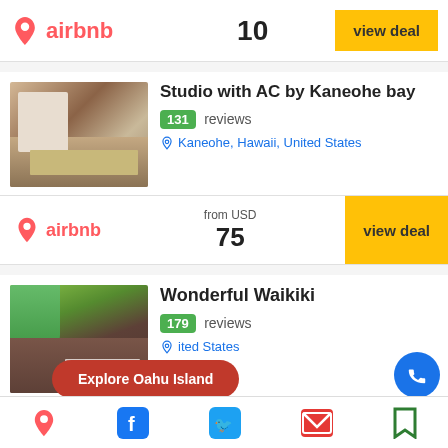[Figure (screenshot): Airbnb logo with price 10 and view deal button (top partial card)]
[Figure (photo): Bedroom photo for Studio with AC by Kaneohe bay listing]
Studio with AC by Kaneohe bay
131 reviews
Kaneohe, Hawaii, United States
from USD 75 — view deal (Airbnb)
[Figure (photo): Bedroom photo for Wonderful Waikiki listing]
Wonderful Waikiki
179 reviews
United States
from USD — view deal (Airbnb) — partial
Explore Oahu Island
[Figure (screenshot): Bottom navigation bar with Facebook, Twitter, email, bookmark icons]